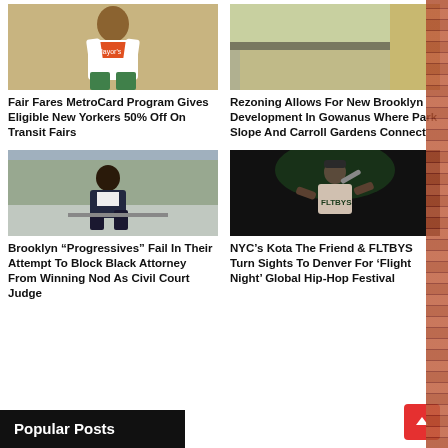[Figure (photo): Woman in NYC Mayor's Public Engagement Unit t-shirt outdoors]
Fair Fares MetroCard Program Gives Eligible New Yorkers 50% Off On Transit Fairs
[Figure (photo): Vacant lot in Brooklyn/Gowanus area with building walls visible]
Rezoning Allows For New Brooklyn Development In Gowanus Where Park Slope And Carroll Gardens Connect
[Figure (photo): Black man in dark suit sitting on railing in park]
Brooklyn “Progressives” Fail In Their Attempt To Block Black Attorney From Winning Nod As Civil Court Judge
[Figure (photo): Performer on stage at night wearing FLTBYS shirt, holding microphone]
NYC’s Kota The Friend & FLTBYS Turn Sights To Denver For ‘Flight Night’ Global Hip-Hop Festival
Popular Posts